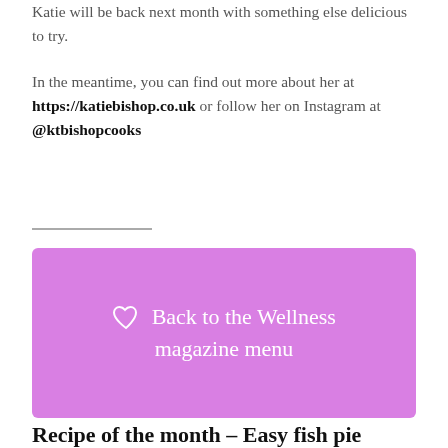Katie will be back next month with something else delicious to try.
In the meantime, you can find out more about her at https://katiebishop.co.uk or follow her on Instagram at @ktbishopcooks
[Figure (other): Pink/violet rounded rectangle button with a heart outline icon and the text 'Back to the Wellness magazine menu' in white]
Recipe of the month – Easy fish pie